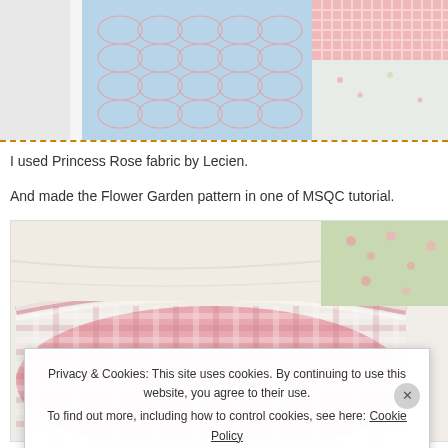[Figure (photo): Cropped top portion of a quilt or fabric arrangement showing pink and blue patterned fabrics, partially visible.]
I used Princess Rose fabric by Lecien.
And made the Flower Garden pattern in one of MSQC tutorial.
[Figure (photo): A rolled or folded quilt with pink gingham/checkered binding, light cream interior, and floral green and white fabric visible in the background.]
Privacy & Cookies: This site uses cookies. By continuing to use this website, you agree to their use.
To find out more, including how to control cookies, see here: Cookie Policy
Close and accept